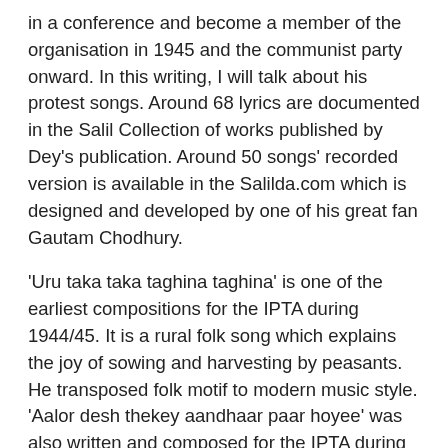in a conference and become a member of the organisation in 1945 and the communist party onward. In this writing, I will talk about his protest songs. Around 68 lyrics are documented in the Salil Collection of works published by Dey's publication. Around 50 songs' recorded version is available in the Salilda.com which is designed and developed by one of his great fan Gautam Chodhury.
'Uru taka taka taghina taghina' is one of the earliest compositions for the IPTA during 1944/45. It is a rural folk song which explains the joy of sowing and harvesting by peasants. He transposed folk motif to modern music style. 'Aalor desh thekey aandhaar paar hoyee' was also written and composed for the IPTA during 1945/46. In this song, Salil did experiment with vocal-harmony and singing in multi layers. Salil blend musical metaphor with poetic texts in the songs, like, 'Surrjer shoraghate e kuyasha chire dao', 'Besurer dabanole osurer jani hobe shesh'. He always believed in the power of music. He mentioned it in several songs, like in